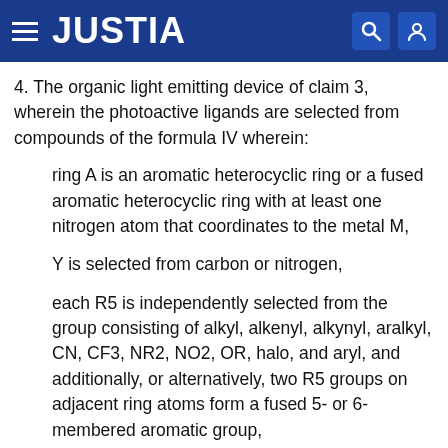JUSTIA
4. The organic light emitting device of claim 3, wherein the photoactive ligands are selected from compounds of the formula IV wherein:
ring A is an aromatic heterocyclic ring or a fused aromatic heterocyclic ring with at least one nitrogen atom that coordinates to the metal M,
Y is selected from carbon or nitrogen,
each R5 is independently selected from the group consisting of alkyl, alkenyl, alkynyl, aralkyl, CN, CF3, NR2, NO2, OR, halo, and aryl, and additionally, or alternatively, two R5 groups on adjacent ring atoms form a fused 5- or 6-membered aromatic group,
each R6 is independently selected from the group